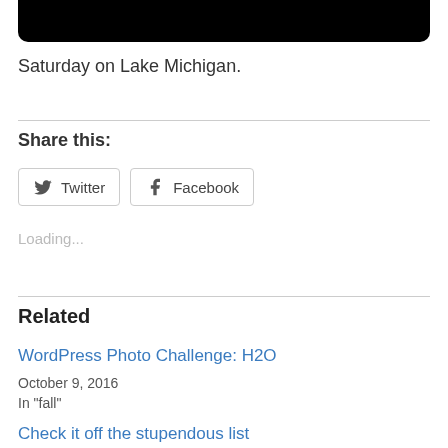[Figure (photo): Black image area at the top of the page, partially cropped, showing a dark/black rectangle with rounded bottom corners.]
Saturday on Lake Michigan.
Share this:
Twitter  Facebook
Loading...
Related
WordPress Photo Challenge: H2O
October 9, 2016
In "fall"
Check it off the stupendous list